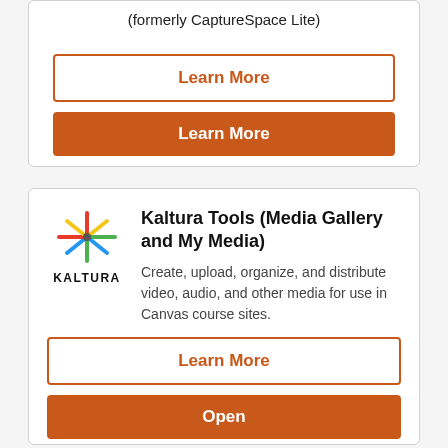(formerly CaptureSpace Lite)
Learn More
Learn More
[Figure (logo): Kaltura logo: colorful starburst icon with rays in red, yellow, green, blue colors, and text KALTURA in bold black letters below]
Kaltura Tools (Media Gallery and My Media)
Create, upload, organize, and distribute video, audio, and other media for use in Canvas course sites.
Learn More
Open